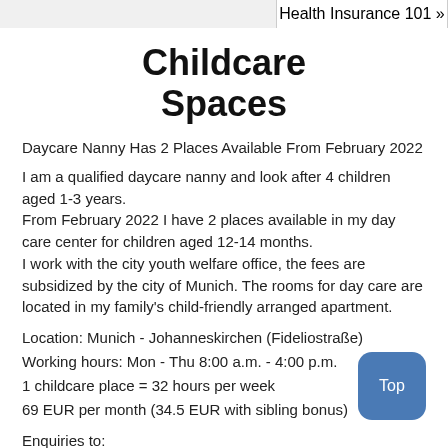Health Insurance 101 »
Childcare Spaces
Daycare Nanny Has 2 Places Available From February 2022
I am a qualified daycare nanny and look after 4 children aged 1-3 years.
From February 2022 I have 2 places available in my day care center for children aged 12-14 months.
I work with the city youth welfare office, the fees are subsidized by the city of Munich. The rooms for day care are located in my family's child-friendly arranged apartment.
Location: Munich - Johanneskirchen (Fideliostraße)
Working hours: Mon - Thu 8:00 a.m. - 4:00 p.m.
1 childcare place = 32 hours per week
69 EUR per month (34.5 EUR with sibling bonus)
Enquiries to:
editor@themunicheye.com